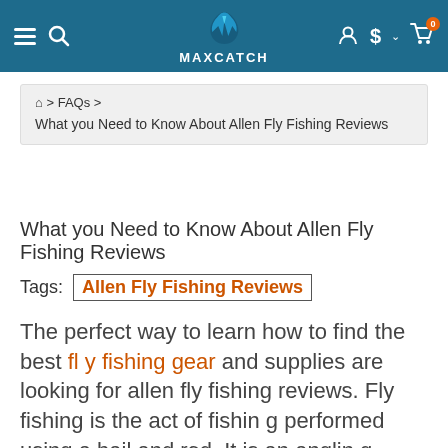MAXCATCH
Home > FAQs > What you Need to Know About Allen Fly Fishing Reviews
What you Need to Know About Allen Fly Fishing Reviews
Tags: Allen Fly Fishing Reviews
The perfect way to learn how to find the best fly fishing gear and supplies are looking for allen fly fishing reviews. Fly fishing is the act of fishing performed using a bail and rod. It is an angling technique that utilizes a light-weight lure to catch fish. This sport of fishing can be performed in salt or fresh water.